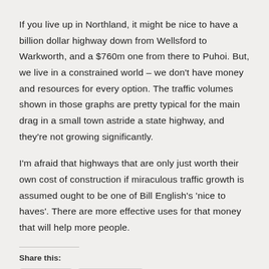If you live up in Northland, it might be nice to have a billion dollar highway down from Wellsford to Warkworth, and a $760m one from there to Puhoi. But, we live in a constrained world – we don't have money and resources for every option. The traffic volumes shown in those graphs are pretty typical for the main drag in a small town astride a state highway, and they're not growing significantly.
I'm afraid that highways that are only just worth their own cost of construction if miraculous traffic growth is assumed ought to be one of Bill English's 'nice to haves'. There are more effective uses for that money that will help more people.
Share this: